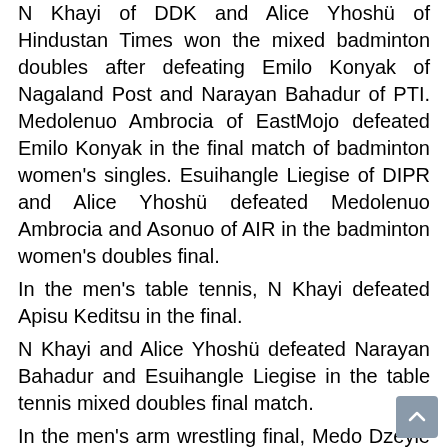N Khayi of DDK and Alice Yhoshü of Hindustan Times won the mixed badminton doubles after defeating Emilo Konyak of Nagaland Post and Narayan Bahadur of PTI. Medolenuo Ambrocia of EastMojo defeated Emilo Konyak in the final match of badminton women's singles. Esuihangle Liegise of DIPR and Alice Yhoshü defeated Medolenuo Ambrocia and Asonuo of AIR in the badminton women's doubles final. In the men's table tennis, N Khayi defeated Apisu Keditsu in the final. N Khayi and Alice Yhoshü defeated Narayan Bahadur and Esuihangle Liegise in the table tennis mixed doubles final match. In the men's arm wrestling final, Medo Dzeyie beat his colleague Ketouvilie Kire who is also from Capi. Loreni Tsanglao Pfozhe of DDK beat Esuihangle Liegise in the women's arm wrestling final. The sports meet of KPC, oldest press club in Nagaland, was conducted by the organising committee led by